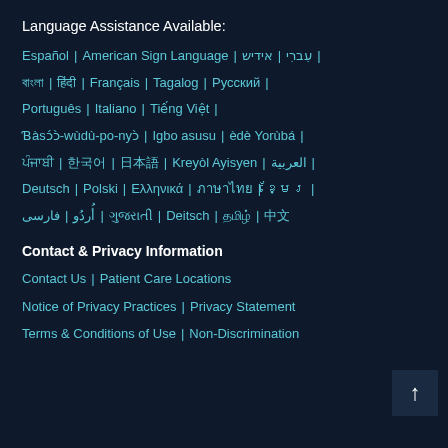Language Assistance Available:
Español | American Sign Language | עִברִי | אידיש | বাংলা | हिंदी | Français | Tagalog | Русский | Português | Italiano | Tiếng Việt | Ɓàsɔ́ɔ̀-wùdù-po-nyɔ̀ | Igbo asusu | èdè Yorùbá | ਪੰਜਾਬੀ | 한국어 | 日本語 | Kreyòl Ayisyen | العربية | Deutsch | Polski | Ελληνικά | ภาษาไทย | ខ្មែរ | أُردُو | فارسی | ગુજરાતી | Deitsch | தமிழ் | 中文
Contact & Privacy Information
Contact Us | Patient Care Locations
Notice of Privacy Practices | Privacy Statement
Terms & Conditions of Use | Non-Discrimination